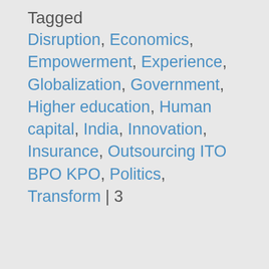Tagged
Disruption, Economics, Empowerment, Experience, Globalization, Government, Higher education, Human capital, India, Innovation, Insurance, Outsourcing ITO BPO KPO, Politics, Transform | 3